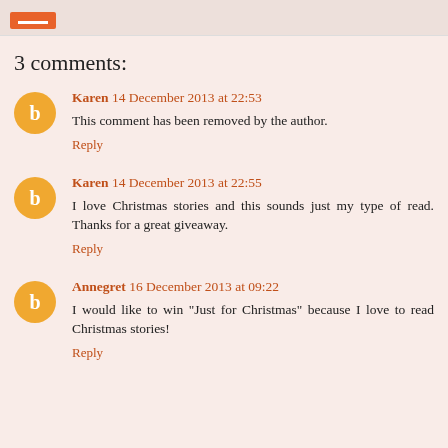3 comments:
Karen 14 December 2013 at 22:53
This comment has been removed by the author.
Reply
Karen 14 December 2013 at 22:55
I love Christmas stories and this sounds just my type of read. Thanks for a great giveaway.
Reply
Annegret 16 December 2013 at 09:22
I would like to win "Just for Christmas" because I love to read Christmas stories!
Reply